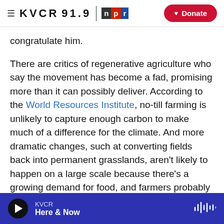KVCR 91.9 NPR | Donate
congratulate him.
There are critics of regenerative agriculture who say the movement has become a fad, promising more than it can possibly deliver. According to the World Resources Institute, no-till farming is unlikely to capture enough carbon to make much of a difference for the climate. And more dramatic changes, such at converting fields back into permanent grasslands, aren't likely to happen on a large scale because there's a growing demand for food, and farmers probably won't stop growing profitable crops.
KVCR | Here & Now